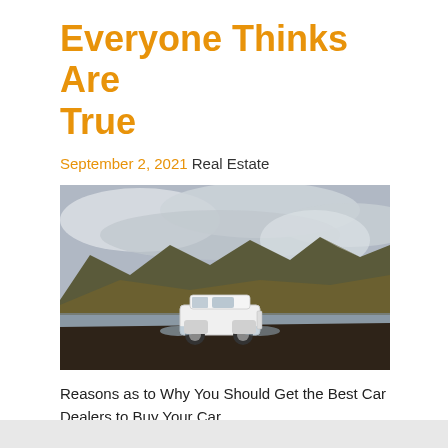Everyone Thinks Are True
September 2, 2021 Real Estate
[Figure (photo): A white off-road SUV (Land Rover Defender style) driving through shallow water with dramatic mountain scenery and cloudy sky in the background.]
Reasons as to Why You Should Get the Best Car Dealers to Buy Your Car